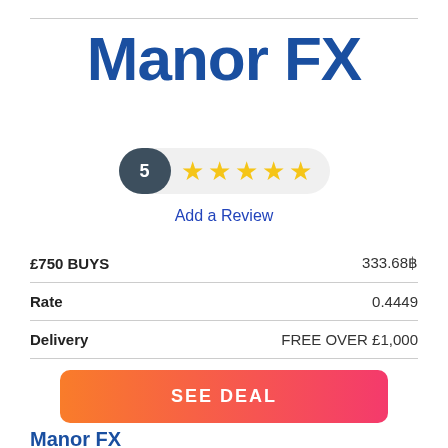[Figure (logo): Manor FX logo in bold dark blue text]
[Figure (infographic): Rating badge showing 5 with 5 gold stars]
Add a Review
|  |  |
| --- | --- |
| £750 BUYS | 333.68 |
| Rate | 0.4449 |
| Delivery | FREE OVER £1,000 |
SEE DEAL
Manor FX